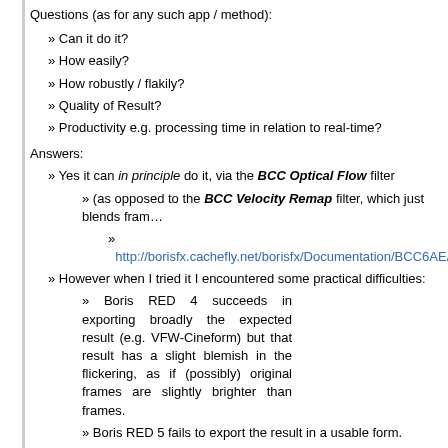Questions (as for any such app / method):
» Can it do it?
» How easily?
» How robustly / flakily?
» Quality of Result?
» Productivity e.g. processing time in relation to real-time?
Answers:
» Yes it can in principle do it, via the BCC Optical Flow filter
» (as opposed to the BCC Velocity Remap filter, which just blends fram…
» http://borisfx.cachefly.net/borisfx/Documentation/BCC6AE/BCC%...
» However when I tried it I encountered some practical difficulties:
» Boris RED 4 succeeds in exporting broadly the expected result (e.g. VFW-Cineform) but that result has a slight blemish in the flickering, as if (possibly) original frames are slightly brighter than frames.
» Boris RED 5 fails to export the result in a usable form.
» I tried various containers and codecs.
» I have reported these and other issues, to Boris FX (via their Suppor…